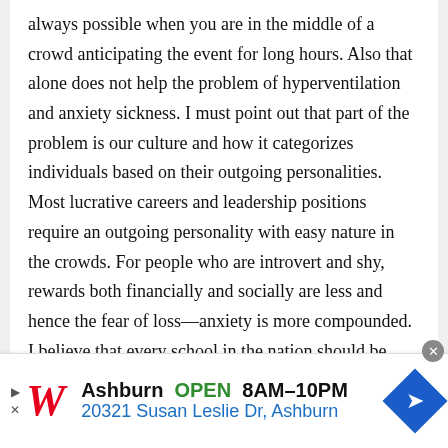always possible when you are in the middle of a crowd anticipating the event for long hours. Also that alone does not help the problem of hyperventilation and anxiety sickness. I must point out that part of the problem is our culture and how it categorizes individuals based on their outgoing personalities. Most lucrative careers and leadership positions require an outgoing personality with easy nature in the crowds. For people who are introvert and shy, rewards both financially and socially are less and hence the fear of loss—anxiety is more compounded. I believe that every school in the nation should be able to spot those weaknesses in us at early age and develop special classes
[Figure (screenshot): Advertisement banner for Walgreens showing: infolinks label, Walgreens W logo, Ashburn OPEN 8AM-10PM, 20321 Susan Leslie Dr, Ashburn, navigation arrow icon, and close button]